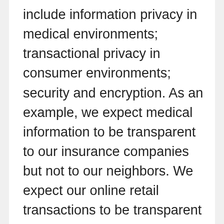include information privacy in medical environments; transactional privacy in consumer environments; security and encryption. As an example, we expect medical information to be transparent to our insurance companies but not to our neighbors. We expect our online retail transactions to be transparent only to the companies with which we engage.  But in some cases, so-called “breaches” of data may be difficult to decipher – for example, what norms govern search data? How private is it? To what extent is search data subject to legal evidentiary norms?